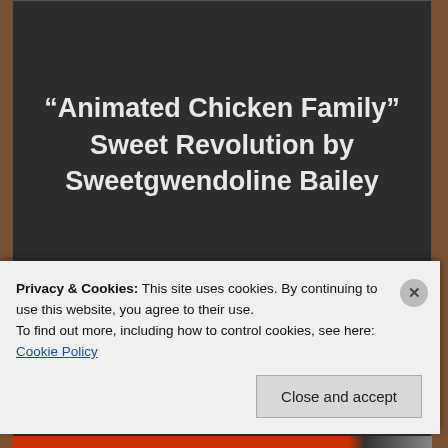“Animated Chicken Family” Sweet Revolution by Sweetgwendoline Bailey
[Figure (screenshot): Broken image placeholder followed by link text: "Spring Fairy Charm" Bam-Pu Legacies - Bambi Chicque]
Privacy & Cookies: This site uses cookies. By continuing to use this website, you agree to their use.
To find out more, including how to control cookies, see here: Cookie Policy